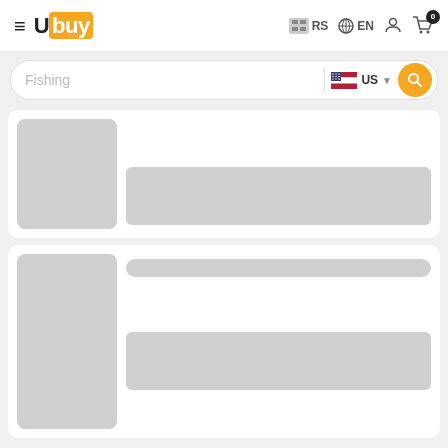[Figure (screenshot): Ubuy e-commerce website header with hamburger menu, Ubuy logo, RS country code, EN language, user icon, and cart icon with 0 badge]
[Figure (screenshot): Search bar with placeholder text 'Fishing', US flag country selector, and orange search button]
[Figure (screenshot): Two product listing skeleton/loading cards with gray image placeholders and gray content placeholder bars]